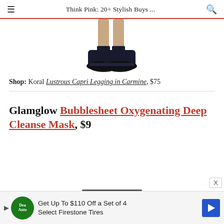Think Pink: 20+ Stylish Buys ...
[Figure (photo): Partial view of legs wearing black sneakers/athletic shoes against a white background]
Shop: Koral Lustrous Capri Legging in Carmine, $75
Glamglow Bubblesheet Oxygenating Deep Cleanse Mask, $9
Get Up To $110 Off a Set of 4 Select Firestone Tires